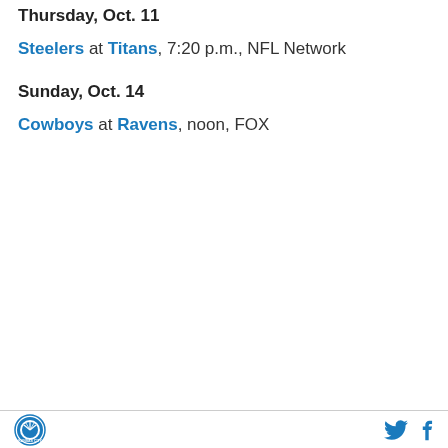Thursday, Oct. 11
Steelers at Titans, 7:20 p.m., NFL Network
Sunday, Oct. 14
Cowboys at Ravens, noon, FOX
Kansas City logo, Twitter icon, Facebook icon